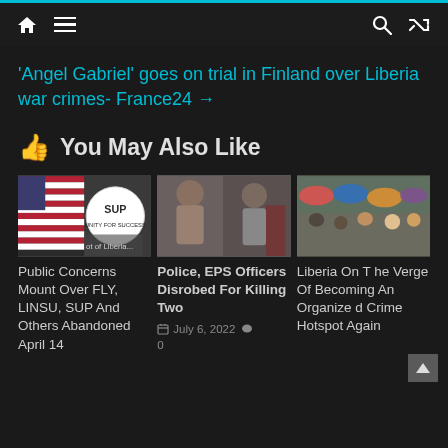Navigation bar with home, menu, search, shuffle icons
'Angel Gabriel' goes on trial in Finland over Liberia war crimes- France24 →
👍 You May Also Like
[Figure (photo): Thumbnail image: Liberian flag and SUP party logo]
Public Concerns Mount Over FLY, LINSU, SUP And Others Abandoned April 14
[Figure (photo): Thumbnail image: Two individuals, one shirtless, police/EPS related]
Police, EPS Officers Disrobed For Killing Two
July 6, 2022  0
[Figure (photo): Thumbnail image: Crowded market scene in Liberia]
Liberia On The Verge Of Becoming An Organized Crime Hotspot Again